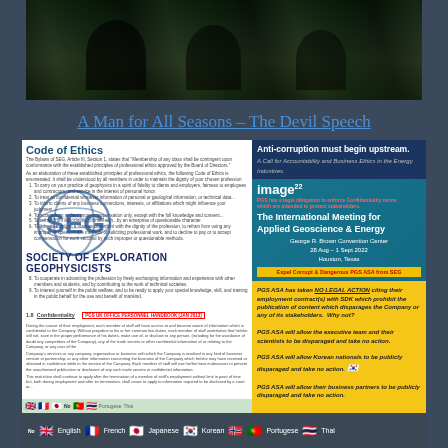[Figure (photo): Dark photo strip at top of page showing silhouetted figures]
A Man for All Seasons – The Devil Speech
[Figure (screenshot): Left panel: Code of Ethics document with SEG Society of Exploration Geophysicists logo and text, overlaid with confidentiality section marked with red border box labeled PGS UK OFFICE PERSONNEL HANDBOOK [JAN 2013]]
[Figure (infographic): Right panel: Anti-corruption must begin upstream - A Call for Accountability and Business Ethics in the Energy Industries. IMAGE 22 conference box. PGS ASA yellow box with text about NO LEGAL ACTION.]
PGS ASA has taken NO LEGAL ACTION citing their employment contract(s) with SDK which prohibit the publication of content which disparages the Company or any of its stakeholders. Why not?
PGS ASA will allow the executive team and their scientists to be disparaged and take no action.
PGS ASA will allow Korean nationals to be publicly disparaged and take no action.
PGS ASA will allow their business partners to be publicly disparaged and take no action.
No | Japanese | Korean | Thai | Portugese